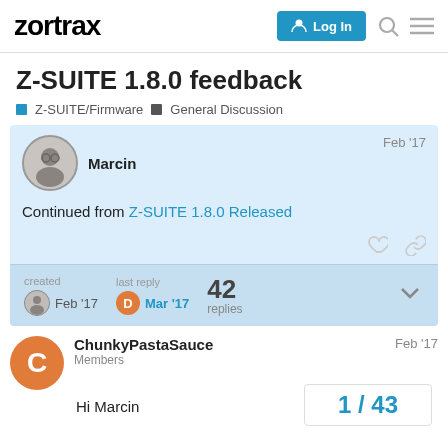zortrax | Log In
Z-SUITE 1.8.0 feedback
Z-SUITE/Firmware  General Discussion
Marcin  Feb '17
Continued from Z-SUITE 1.8.0 Released
created Feb '17  last reply D Mar '17  42 replies
ChunkyPastaSauce  Feb '17
Members
Hi Marcin
1 / 43